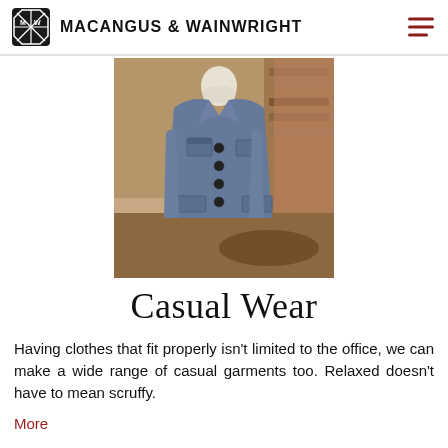MACANGUS & WAINWRIGHT
[Figure (photo): A blue linen casual jacket displayed on a mannequin in what appears to be a shop interior. The jacket has chest pockets, button closure, and a spread collar.]
Casual Wear
Having clothes that fit properly isn't limited to the office, we can make a wide range of casual garments too. Relaxed doesn't have to mean scruffy.
More